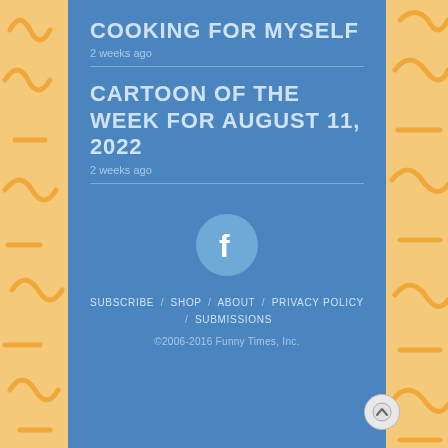COOKING FOR MYSELF
2 weeks ago
CARTOON OF THE WEEK FOR AUGUST 11, 2022
2 weeks ago
[Figure (logo): Facebook icon in a light blue circle]
SUBSCRIBE / SHOP / ABOUT / PRIVACY POLICY / SUBMISSIONS
©2006-2016 Funny Times, Inc.